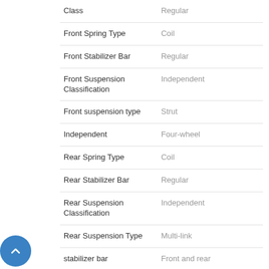| Feature | Value |
| --- | --- |
| Class | Regular |
| Front Spring Type | Coil |
| Front Stabilizer Bar | Regular |
| Front Suspension Classification | Independent |
| Front suspension type | Strut |
| Independent | Four-wheel |
| Rear Spring Type | Coil |
| Rear Stabilizer Bar | Regular |
| Rear Suspension Classification | Independent |
| Rear Suspension Type | Multi-link |
| stabilizer bar | Front and rear |
Telematics
| Feature | Value |
| --- | --- |
| smart device integration | App-Connect (Android Auto/Apple CarPlay/MirrorLink) |
| wireless phone connectivity | Bluetooth |
Third Row Seat